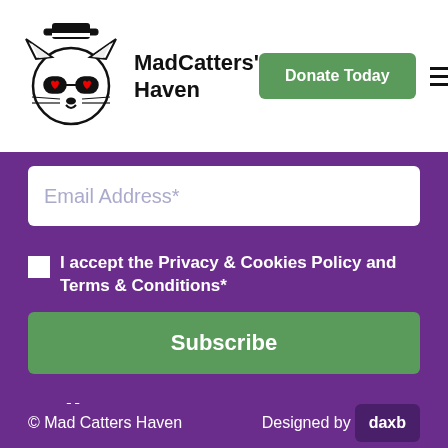[Figure (logo): MadCatters' Haven logo: cartoon cat face with top hat and sunglasses, with text MadCatters' Haven]
Email Address*
I accept the Privacy & Cookies Policy and Terms & Conditions*
Subscribe
Follow us
[Figure (illustration): Social media icons: Facebook, Instagram, Twitter]
© Mad Catters Haven    Designed by daxb